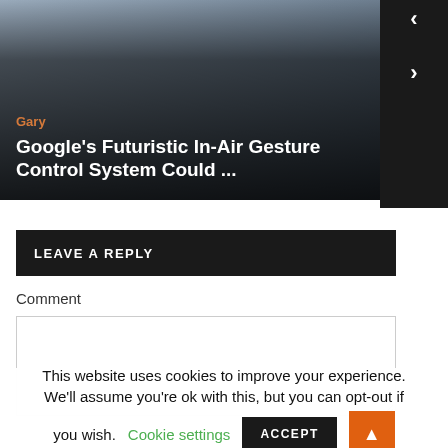[Figure (screenshot): Article preview card with author name 'Gary' in orange and title 'Google's Futuristic In-Air Gesture Control System Could ...' in white on dark gradient background]
Gary
Google's Futuristic In-Air Gesture Control System Could ...
LEAVE A REPLY
Comment
This website uses cookies to improve your experience. We'll assume you're ok with this, but you can opt-out if you wish.
Cookie settings
ACCEPT